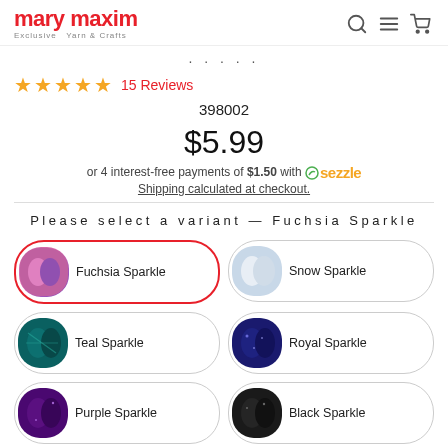[Figure (logo): Mary Maxim logo — red text 'mary maxim' with tagline 'Exclusive Yarn & Crafts']
[Figure (other): Header icons: search, hamburger menu, shopping cart]
· · · · ·
★★★★★  15 Reviews
398002
$5.99
or 4 interest-free payments of $1.50 with Sezzle
Shipping calculated at checkout.
Please select a variant — Fuchsia Sparkle
[Figure (other): Variant button: Fuchsia Sparkle yarn swatch (pink/purple) — selected with red border]
[Figure (other): Variant button: Snow Sparkle yarn swatch (white/light blue)]
[Figure (other): Variant button: Teal Sparkle yarn swatch (dark teal)]
[Figure (other): Variant button: Royal Sparkle yarn swatch (dark blue)]
[Figure (other): Variant button: Purple Sparkle yarn swatch (purple)]
[Figure (other): Variant button: Black Sparkle yarn swatch (black)]